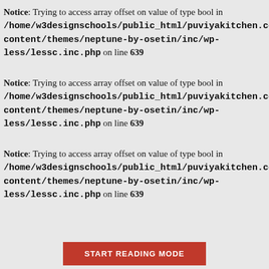Notice: Trying to access array offset on value of type bool in /home/w3designschools/public_html/puviyakitchen.com/wp-content/themes/neptune-by-osetin/inc/wp-less/lessc.inc.php on line 639
Notice: Trying to access array offset on value of type bool in /home/w3designschools/public_html/puviyakitchen.com/wp-content/themes/neptune-by-osetin/inc/wp-less/lessc.inc.php on line 639
Notice: Trying to access array offset on value of type bool in /home/w3designschools/public_html/puviyakitchen.com/wp-content/themes/neptune-by-osetin/inc/wp-less/lessc.inc.php on line 639
START READING MODE